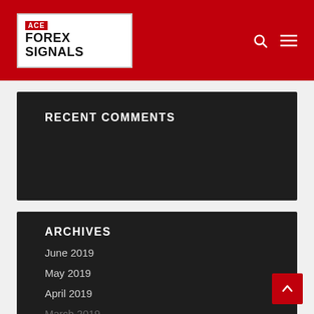ACE FOREX SIGNALS
RECENT COMMENTS
ARCHIVES
June 2019
May 2019
April 2019
March 2019